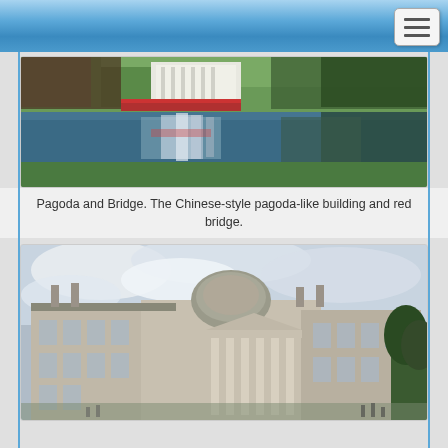Navigation bar with hamburger menu
[Figure (photo): Pagoda and bridge scene showing a Chinese-style pagoda-like building with a red bridge reflected in a pond, surrounded by green grass banks]
Pagoda and Bridge. The Chinese-style pagoda-like building and red bridge.
[Figure (photo): Large neoclassical stone mansion or stately home with columns, dome, chimneys, and ornate facade photographed under a cloudy sky with trees visible to the right]